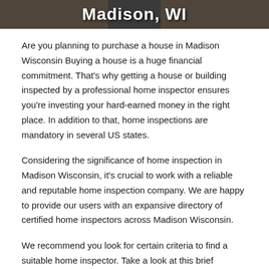[Figure (photo): Dark header banner image showing partial text 'Madison, WI' in white bold font over a dark background with a blurred interior/house scene.]
Are you planning to purchase a house in Madison Wisconsin Buying a house is a huge financial commitment. That's why getting a house or building inspected by a professional home inspector ensures you're investing your hard-earned money in the right place. In addition to that, home inspections are mandatory in several US states.
Considering the significance of home inspection in Madison Wisconsin, it's crucial to work with a reliable and reputable home inspection company. We are happy to provide our users with an expansive directory of certified home inspectors across Madison Wisconsin.
We recommend you look for certain criteria to find a suitable home inspector. Take a look at this brief checklist to narrow down your